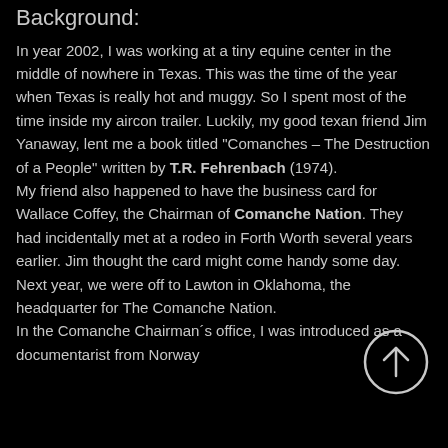Background:
In year 2002, I was working at a tiny equine center in the middle of nowhere in Texas. This was the time of the year when Texas is really hot and muggy. So I spent most of the time inside my aircon trailer. Luckily, my good texan friend Jim Yanaway, lent me a book titled "Comanches – The Destruction of a People" written by T.R. Fehrenbach (1974).
My friend also happened to have the business card for Wallace Coffey, the Chairman of Comanche Nation. They had incidentally met at a rodeo in Forth Worth several years earlier. Jim thought the card might come handy some day. Next year, we were off to Lawton in Oklahoma, the headquarter for The Comanche Nation.
In the Comanche Chairman´s office, I was introduced as a documentarist from Norway
[Figure (other): A circular scroll-up / back-to-top button with an upward arrow, white outline on black background.]